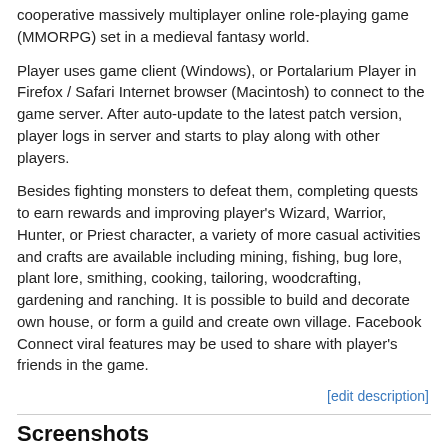cooperative massively multiplayer online role-playing game (MMORPG) set in a medieval fantasy world.
Player uses game client (Windows), or Portalarium Player in Firefox / Safari Internet browser (Macintosh) to connect to the game server. After auto-update to the latest patch version, player logs in server and starts to play along with other players.
Besides fighting monsters to defeat them, completing quests to earn rewards and improving player's Wizard, Warrior, Hunter, or Priest character, a variety of more casual activities and crafts are available including mining, fishing, bug lore, plant lore, smithing, cooking, tailoring, woodcrafting, gardening and ranching. It is possible to build and decorate own house, or form a guild and create own village. Facebook Connect viral features may be used to share with player's friends in the game.
[edit description]
Screenshots
[Figure (screenshot): Empty screenshot placeholder box 1]
[Figure (screenshot): Empty screenshot placeholder box 2]